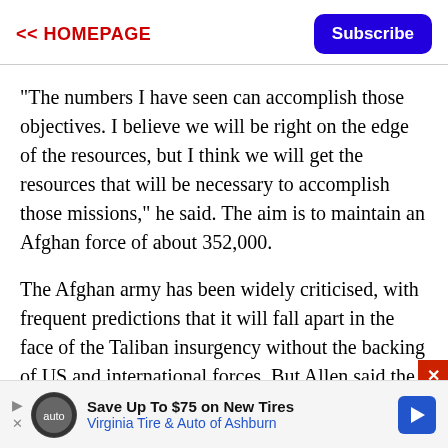<< HOMEPAGE
"The numbers I have seen can accomplish those objectives. I believe we will be right on the edge of the resources, but I think we will get the resources that will be necessary to accomplish those missions," he said. The aim is to maintain an Afghan force of about 352,000.
The Afghan army has been widely criticised, with frequent predictions that it will fall apart in the face of the Taliban insurgency without the backing of US and international forces. But Allen said the
[Figure (other): Advertisement banner: Save Up To $75 on New Tires - Virginia Tire & Auto of Ashburn, with play/close controls and blue arrow logo]